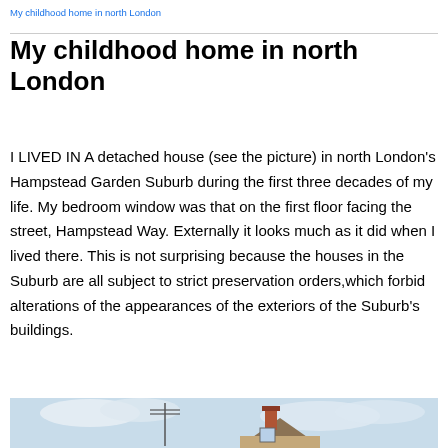My childhood home in north London
My childhood home in north London
I LIVED IN A detached house (see the picture) in north London's Hampstead Garden Suburb during the first three decades of my life. My bedroom window was that on the first floor facing the street, Hampstead Way. Externally it looks much as it did when I lived there. This is not surprising because the houses in the Suburb are all subject to strict preservation orders,which forbid alterations of the appearances of the exteriors of the Suburb's buildings.
[Figure (photo): Photograph of a detached house in Hampstead Garden Suburb, north London, showing the roofline with chimneys against a cloudy sky.]